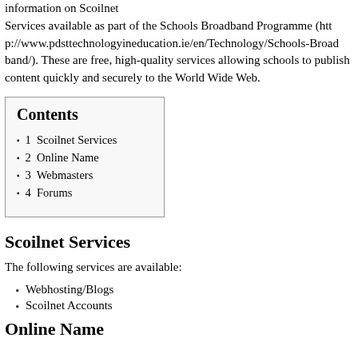information on Scoilnet
Services available as part of the Schools Broadband Programme (http://www.pdsttechnologyineducation.ie/en/Technology/Schools-Broadband/). These are free, high-quality services allowing schools to publish content quickly and securely to the World Wide Web.
Contents
1  Scoilnet Services
2  Online Name
3  Webmasters
4  Forums
Scoilnet Services
The following services are available:
Webhosting/Blogs
Scoilnet Accounts
Online Name